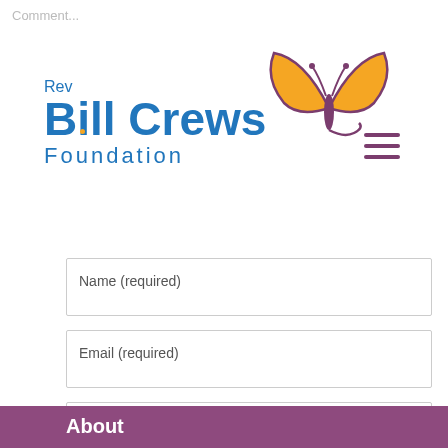Comment...
[Figure (logo): Rev Bill Crews Foundation logo with butterfly and blue text]
Name (required)
Email (required)
Website
POST COMMENT
About